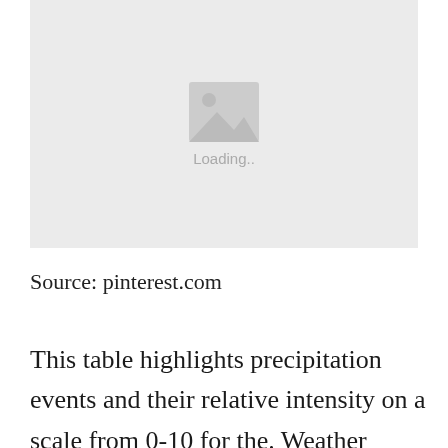[Figure (other): Image placeholder with mountain/image icon and 'Loading..' text on a light grey background]
Source: pinterest.com
This table highlights precipitation events and their relative intensity on a scale from 0-10 for the. Weather Severe Thunderstorm Watch. Rain likely for the next several hours. Get the forecast for today tonight tomorrows weather [error icon] Central Business